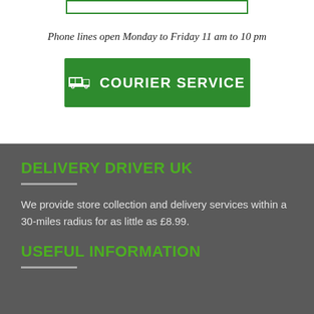[Figure (other): Green-bordered button rectangle at top of page]
Phone lines open Monday to Friday 11 am to 10 pm
[Figure (other): Green button with truck icon and text COURIER SERVICE]
DELIVERY DRIVER UK
We provide store collection and delivery services within a 30-miles radius for as little as £8.99.
USEFUL INFORMATION